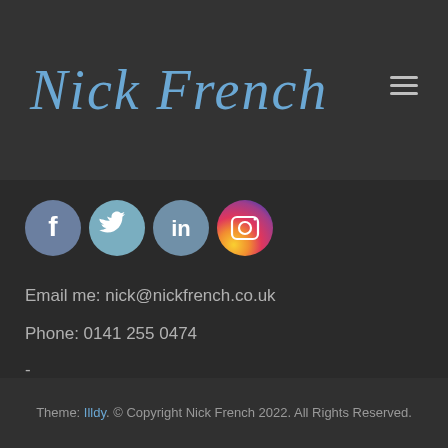[Figure (logo): Nick French cursive script logo in blue on dark grey header background]
[Figure (infographic): Four social media icons in circles: Facebook (blue-grey), Twitter (light blue-grey), LinkedIn (grey-blue), Instagram (gradient pink-purple-orange)]
Email me: nick@nickfrench.co.uk
Phone: 0141 255 0474
-
Theme: Illdy. © Copyright Nick French 2022. All Rights Reserved.